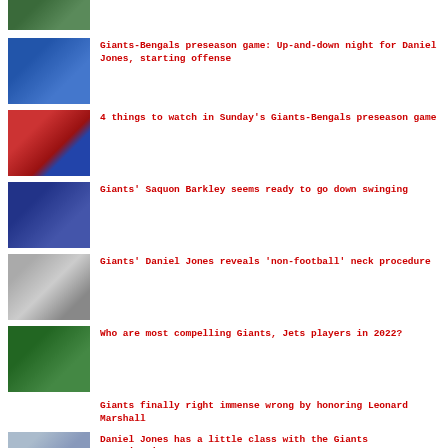[Figure (photo): Sports/football image thumbnail at top]
Giants-Bengals preseason game: Up-and-down night for Daniel Jones, starting offense
4 things to watch in Sunday's Giants-Bengals preseason game
Giants' Saquon Barkley seems ready to go down swinging
Giants' Daniel Jones reveals 'non-football' neck procedure
Who are most compelling Giants, Jets players in 2022?
Giants finally right immense wrong by honoring Leonard Marshall
Daniel Jones has a little class with the Giants organization